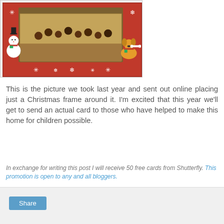[Figure (photo): A Christmas photo card showing a group of African children posing outdoors, framed with a red Christmas border featuring a snowman on the left, a cartoon dog on the right, and snowflake decorations.]
This is the picture we took last year and sent out online placing just a Christmas frame around it. I'm excited that this year we'll get to send an actual card to those who have helped to make this home for children possible.
In exchange for writing this post I will receive 50 free cards from Shutterfly. This promotion is open to any and all bloggers.